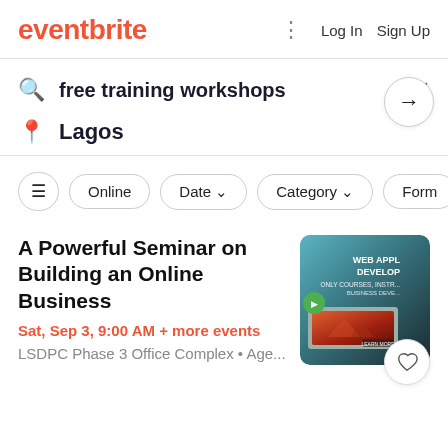eventbrite  Log In  Sign Up
free training workshops
Lagos
Online
Date
Category
Form
A Powerful Seminar on Building an Online Business
Sat, Sep 3, 9:00 AM + more events
LSDPC Phase 3 Office Complex • Age...
[Figure (photo): Web App Development event thumbnail showing a laptop with a coding screen and overlay text 'WEB APP DEVELOP']